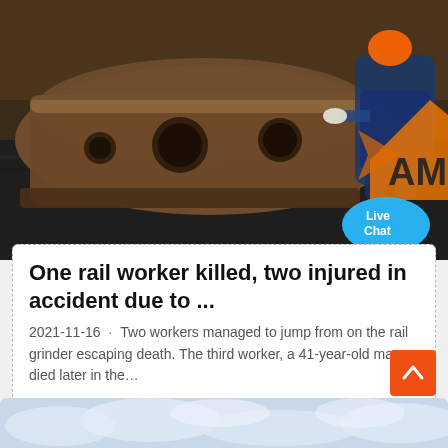[Figure (photo): Industrial photo showing a large heavy metal rail machine/equipment on the ground with a worker in blue jacket and orange hard hat sitting nearby. An orange angular logo (partially visible, letters 'AM') and a 'Live Chat' speech bubble overlay are visible in the lower right corner.]
One rail worker killed, two injured in accident due to ...
2021-11-16 · Two workers managed to jump from on the rail grinder escaping death. The third worker, a 41-year-old man, died later in the…
[Figure (photo): Bottom strip showing a cloudy sky photo.]